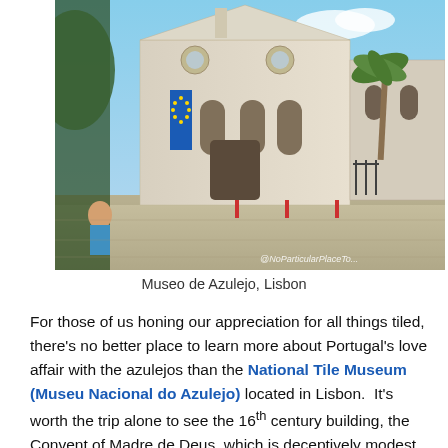[Figure (photo): Exterior photograph of the Museo de Azulejo (Museu Nacional do Azulejo) church building in Lisbon, a white historic building with Gothic arched windows and a blue EU banner, taken from a low angle against a blue sky, with a watermark '@NoParticularPlaceTo...' in the bottom right corner.]
Museo de Azulejo, Lisbon
For those of us honing our appreciation for all things tiled, there's no better place to learn more about Portugal's love affair with the azulejos than the National Tile Museum (Museu Nacional do Azulejo) located in Lisbon.  It's worth the trip alone to see the 16th century building, the Convent of Madre de Deus, which is deceptively modest from